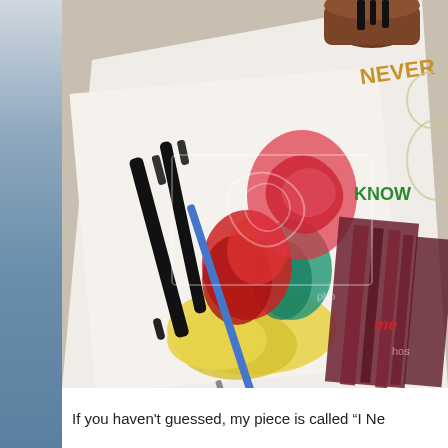[Figure (photo): A photo of an art piece in progress on a white surface, showing a painting with red, green, teal, and yellow paint blobs, alongside dark purple/maroon painted stripes. Two black markers and a blue-handled paintbrush rest on the paper. A brown ink bottle is visible at the top. In the upper right, a partially visible cartoon character illustration shows text including 'NEVER', 'KNOW', and 'me' in colored letters. A watermark overlay is visible on the image.]
If you haven't guessed, my piece is called "I Ne